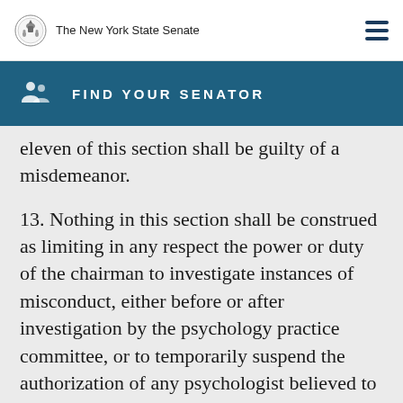The New York State Senate
FIND YOUR SENATOR
eleven of this section shall be guilty of a misdemeanor.
13. Nothing in this section shall be construed as limiting in any respect the power or duty of the chairman to investigate instances of misconduct, either before or after investigation by the psychology practice committee, or to temporarily suspend the authorization of any psychologist believed to be guilty of such